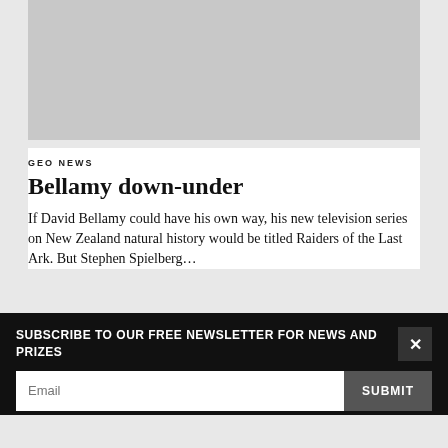[Figure (photo): Gray placeholder image at top of article]
GEO NEWS
Bellamy down-under
If David Bellamy could have his own way, his new television series on New Zealand natural history would be titled Raiders of the Last Ark. But Stephen Spielberg…
SUBSCRIBE TO OUR FREE NEWSLETTER FOR NEWS AND PRIZES
Email
SUBMIT